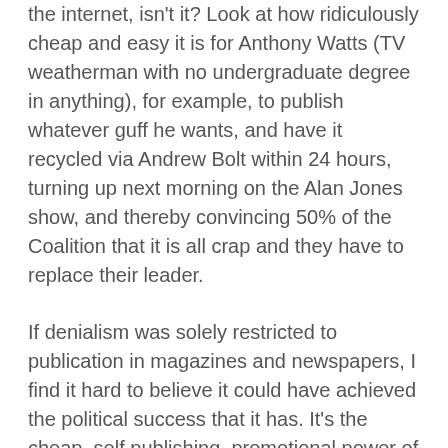the internet, isn't it? Look at how ridiculously cheap and easy it is for Anthony Watts (TV weatherman with no undergraduate degree in anything), for example, to publish whatever guff he wants, and have it recycled via Andrew Bolt within 24 hours, turning up next morning on the Alan Jones show, and thereby convincing 50% of the Coalition that it is all crap and they have to replace their leader.
If denialism was solely restricted to publication in magazines and newspapers, I find it hard to believe it could have achieved the political success that it has. It's the cheap, self publishing, promotional power of the internet that has given it legs.
Tim Macknay says: